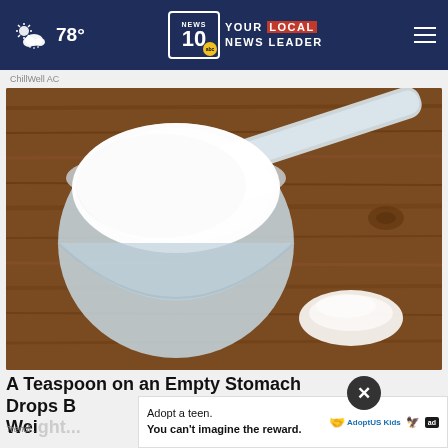78° NEWS 10 YOUR LOCAL NEWS LEADER
ChillWell AC
[Figure (photo): A white measuring scoop filled with white powder, sitting on a rustic wooden surface with a small pile of white powder beside it.]
A Teaspoon on an Empty Stomach Drops Body Weight
Trending
Adopt a teen. You can't imagine the reward. Adopt US Kids